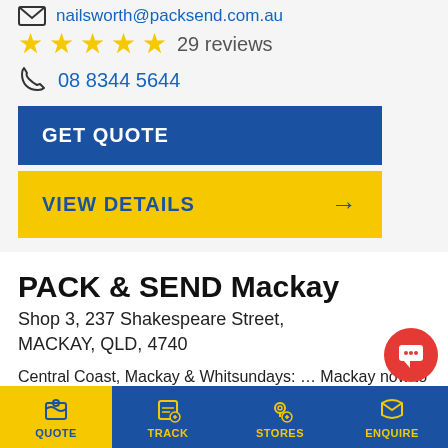nailsworth@packsend.com.au
★★★★★ 29 reviews
08 8344 5644
GET QUOTE
VIEW DETAILS →
PACK & SEND Mackay
Shop 3, 237 Shakespeare Street, MACKAY, QLD, 4740
Central Coast, Mackay & Whitsundays: … Mackay now to get a quote for all your packing and shipping needs. Fast delivery. Very friendly and professional team. Extremely helpful staff, very patient and kind Great service The team at Pac…
QUOTE | TRACK | STORES | ENQUIRE